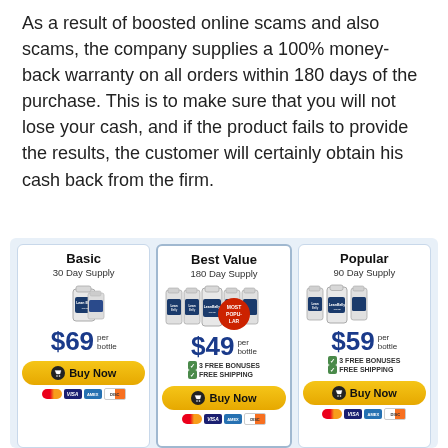As a result of boosted online scams and also scams, the company supplies a 100% money-back warranty on all orders within 180 days of the purchase. This is to make sure that you will not lose your cash, and if the product fails to provide the results, the customer will certainly obtain his cash back from the firm.
[Figure (infographic): Three pricing cards for a supplement product (Lean Belly). Basic: 30 Day Supply, $69 per bottle. Best Value: 180 Day Supply, $49 per bottle, 3 Free Bonuses, Free Shipping. Popular: 90 Day Supply, $59 per bottle, 3 Free Bonuses, Free Shipping. Each card has a Buy Now button and payment icons (Mastercard, Visa, Amex, Discover).]